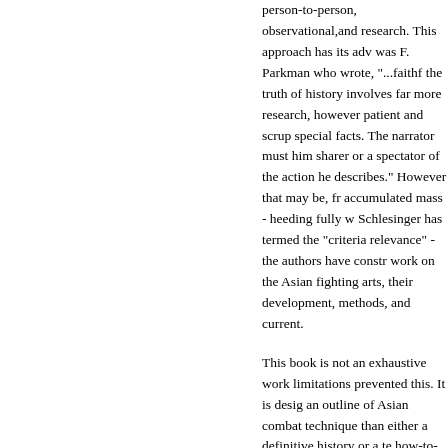person-to-person, observational, and research. This approach has its adv... was F. Parkman who wrote, "...faithful the truth of history involves far more research, however patient and scrup special facts. The narrator must him sharer or a spectator of the action he describes." However that may be, fr accumulated mass - heeding fully w Schlesinger has termed the "criteria relevance" - the authors have constr work on the Asian fighting arts, their development, methods, and current.

This book is not an exhaustive work limitations prevented this. It is desig an outline of Asian combat technique than either a definitive history or a te how-to-do-it manual. It does not hav symmetrical balance hoped for: this result of the information available to authors rather than a bias in favor of countries covered. The work does n to evaluate and rate one country's m versus those of another. Arts that ar practiced purely as sport, for examp Japanese Judo and karate and Kore